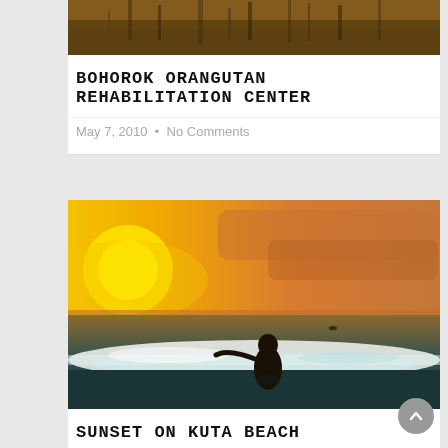[Figure (photo): Partial view of an orangutan or animal at top of first blog card]
BOHOROK ORANGUTAN REHABILITATION CENTER
May 7, 2010  •  No Comments
[Figure (photo): Sunset beach photo with silhouetted person sitting in waves, orange sky with yellow sun on the left]
SUNSET ON KUTA BEACH
January 20, 2010  •  No Comments